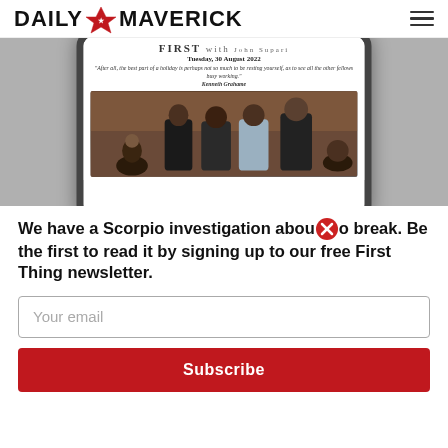DAILY MAVERICK
[Figure (photo): Smartphone mockup displaying the Daily Maverick First Thing newsletter with date Tuesday, 30 August 2022, a quote by Kenneth Grahame, and a photo of several men in suits in what appears to be a parliamentary or court setting.]
We have a Scorpio investigation about to break. Be the first to read it by signing up to our free First Thing newsletter.
Your email
Subscribe